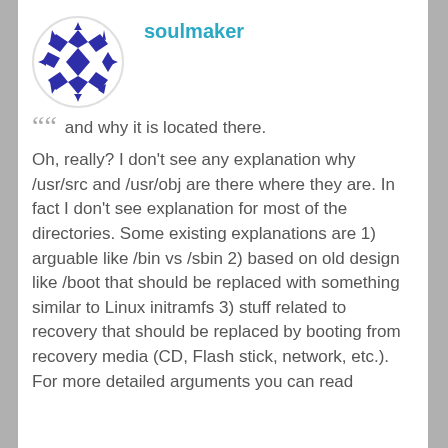[Figure (illustration): Circular avatar with blue/white diamond/arrow pattern on white background]
soulmaker
and why it is located there.
Oh, really? I don't see any explanation why /usr/src and /usr/obj are there where they are. In fact I don't see explanation for most of the directories. Some existing explanations are 1) arguable like /bin vs /sbin 2) based on old design like /boot that should be replaced with something similar to Linux initramfs 3) stuff related to recovery that should be replaced by booting from recovery media (CD, Flash stick, network, etc.). For more detailed arguments you can read